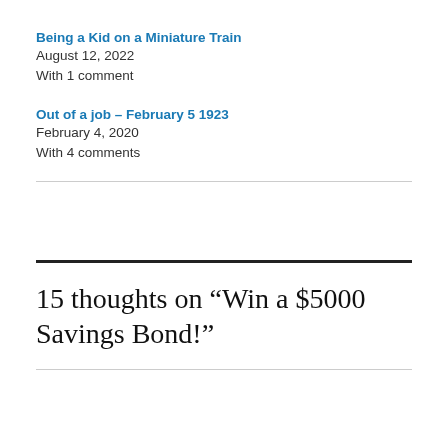Being a Kid on a Miniature Train
August 12, 2022
With 1 comment
Out of a job – February 5 1923
February 4, 2020
With 4 comments
15 thoughts on “Win a $5000 Savings Bond!”